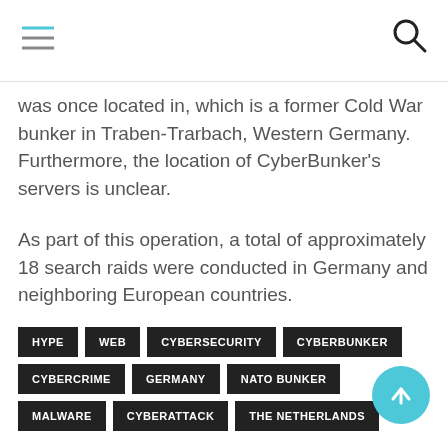was once located in, which is a former Cold War bunker in Traben-Trarbach, Western Germany. Furthermore, the location of CyberBunker's servers is unclear.
As part of this operation, a total of approximately 18 search raids were conducted in Germany and neighboring European countries.
HYPE
WEB
CYBERSECURITY
CYBERBUNKER
CYBERCRIME
GERMANY
NATO BUNKER
MALWARE
CYBERATTACK
THE NETHERLANDS